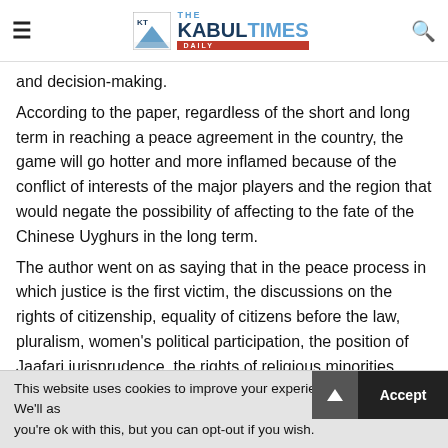[Figure (logo): The Kabul Times Daily newspaper logo with hamburger menu and search icon]
and decision-making.
According to the paper, regardless of the short and long term in reaching a peace agreement in the country, the game will go hotter and more inflamed because of the conflict of interests of the major players and the region that would negate the possibility of affecting to the fate of the Chinese Uyghurs in the long term.
The author went on as saying that in the peace process in which justice is the first victim, the discussions on the rights of citizenship, equality of citizens before the law, pluralism, women's political participation, the position of Jaafari jurisprudence, the rights of religious minorities,
This website uses cookies to improve your experience. We'll as you're ok with this, but you can opt-out if you wish.
Accept
Read More